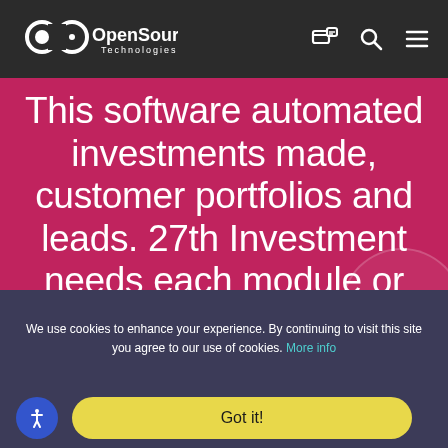[Figure (logo): OpenSource Technologies logo — white infinity/chain icon with 'OpenSource Technologies' text in white on dark background]
This software automated investments made, customer portfolios and leads. 27th Investment needs each module or functionality to be open ended so it can be enhanced easily depending
We use cookies to enhance your experience. By continuing to visit this site you agree to our use of cookies. More info
Got it!